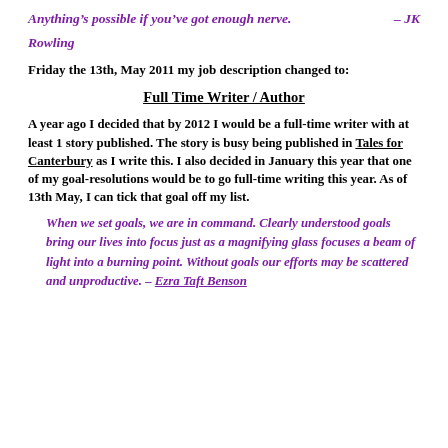Anything’s possible if you’ve got enough nerve.  – JK Rowling
Friday the 13th, May 2011 my job description changed to:
Full Time Writer / Author
A year ago I decided that by 2012 I would be a full-time writer with at least 1 story published. The story is busy being published in Tales for Canterbury as I write this. I also decided in January this year that one of my goal-resolutions would be to go full-time writing this year. As of 13th May, I can tick that goal off my list.
When we set goals, we are in command. Clearly understood goals bring our lives into focus just as a magnifying glass focuses a beam of light into a burning point. Without goals our efforts may be scattered and unproductive. – Ezra Taft Benson